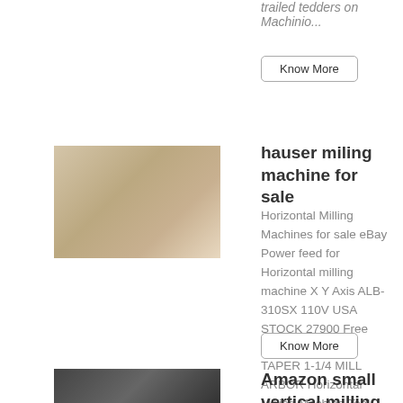trailed tedders on Machinio...
Know More
[Figure (photo): People at a table or booth, possibly an exhibition or market scene]
hauser miling machine for sale
Horizontal Milling Machines for sale eBay Power feed for Horizontal milling machine X Y Axis ALB-310SX 110V USA STOCK 27900 Free shipping 10 Jarno TAPER 1-1/4 MILL ARBOR Horizontal Milling Machine Tool Cutter Shaft 23999 Free shipping Brown and Sharpe Taper 10 Horizontal Mill Arbor 10 Machining Manufacturing Too 3500 More ....
Know More
[Figure (photo): Small image of a milling machine]
Amazon small vertical milling